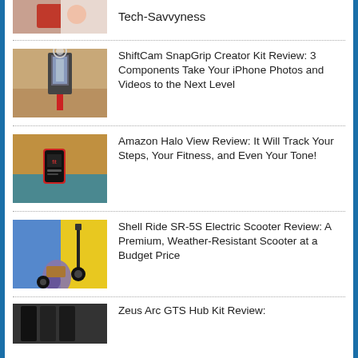[Figure (photo): Partial view of a person holding a red object, cropped at top]
Tech-Savvyness
[Figure (photo): A smartphone on a selfie stick with a ring light]
ShiftCam SnapGrip Creator Kit Review: 3 Components Take Your iPhone Photos and Videos to the Next Level
[Figure (photo): Amazon Halo View fitness tracker on a surface]
Amazon Halo View Review: It Will Track Your Steps, Your Fitness, and Even Your Tone!
[Figure (photo): Person sitting next to an electric scooter against a blue and yellow background]
Shell Ride SR-5S Electric Scooter Review: A Premium, Weather-Resistant Scooter at a Budget Price
[Figure (photo): Partial view of Zeus Arc GTS Hub Kit]
Zeus Arc GTS Hub Kit Review: